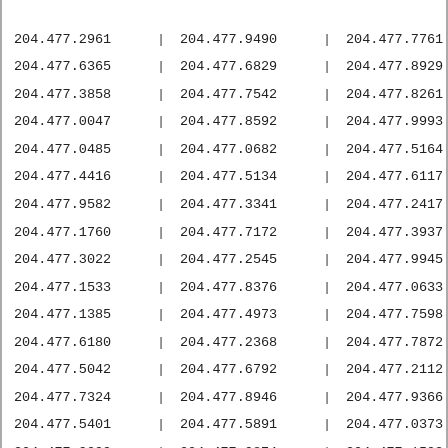| 204.477.2961 | 204.477.9490 | 204.477.7761 |
| 204.477.6365 | 204.477.6829 | 204.477.8929 |
| 204.477.3858 | 204.477.7542 | 204.477.8261 |
| 204.477.0047 | 204.477.8592 | 204.477.9993 |
| 204.477.0485 | 204.477.0682 | 204.477.5164 |
| 204.477.4416 | 204.477.5134 | 204.477.6117 |
| 204.477.9582 | 204.477.3341 | 204.477.2417 |
| 204.477.1760 | 204.477.7172 | 204.477.3937 |
| 204.477.3022 | 204.477.2545 | 204.477.9945 |
| 204.477.1533 | 204.477.8376 | 204.477.0633 |
| 204.477.1385 | 204.477.4973 | 204.477.7598 |
| 204.477.6180 | 204.477.2368 | 204.477.7872 |
| 204.477.5042 | 204.477.6792 | 204.477.2112 |
| 204.477.7324 | 204.477.8946 | 204.477.9366 |
| 204.477.5401 | 204.477.5891 | 204.477.0373 |
| 204.477.9099 | 204.477.0874 | 204.477.1593 |
| 204.477.6476 | 204.477.2664 | 204.477.0268 |
| 204.477.7418 | 204.477.9093 | 204.477.7302 |
| 204.477.5074 | 204.477.0000 | 204.477.0047 |